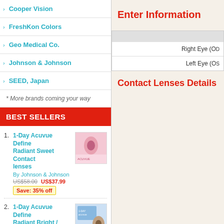Cooper Vision
FreshKon Colors
Geo Medical Co.
Johnson & Johnson
SEED, Japan
* More brands coming your way
BEST SELLERS
1. 1-Day Acuvue Define Radiant Sweet Contact lenses
By Johnson & Johnson
US$58.00  US$37.99
Save: 35% off
2. 1-Day Acuvue Define Radiant Bright / Charm cosmetic lenses
By Johnson & Johnson
US$58.00  US$37.99
Enter Information
|  | Right Eye (OD) | Left Eye (OS) |
| --- | --- | --- |
Contact Lenses Details